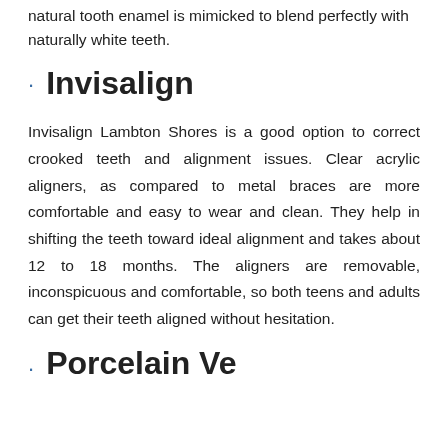natural tooth enamel is mimicked to blend perfectly with naturally white teeth.
Invisalign
Invisalign Lambton Shores is a good option to correct crooked teeth and alignment issues. Clear acrylic aligners, as compared to metal braces are more comfortable and easy to wear and clean. They help in shifting the teeth toward ideal alignment and takes about 12 to 18 months. The aligners are removable, inconspicuous and comfortable, so both teens and adults can get their teeth aligned without hesitation.
Porcelain Veneers